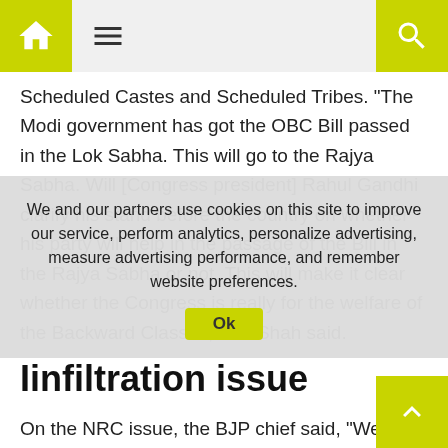Navigation bar with home icon, menu icon, and search icon
Scheduled Castes and Scheduled Tribes. “The Modi government has got the OBC Bill passed in the Lok Sabha. This will go to the Rajya Sabha. Will [Congress president] Rahul Gandhi clarify his stand before the country on whether his party will help in the passage of the Bill in the Rajya Sabha or not. This will make it clear whether the Congress is really for the welfare of the Backward Classes,” Mr. Shah said.
Iinfiltration issue
On the NRC issue, the BJP chief said, “We have to push out each and every Bangladeshi infiltrator from the country.” “Mamata Banerjee and Congress say the NRC should not be done. I ask Rahul Baba whether NRC should or should not be done. If NRC is not done, how will we identify the infiltrators?”
“Today, I would like to ask the SP, the BSP and the Congress if they want the infiltrators to stay in the country or they should be driven out, because they are the enemy of the people of Uttar Pradesh. The congress says that…
We and our partners use cookies on this site to improve our service, perform analytics, personalize advertising, measure advertising performance, and remember website preferences.